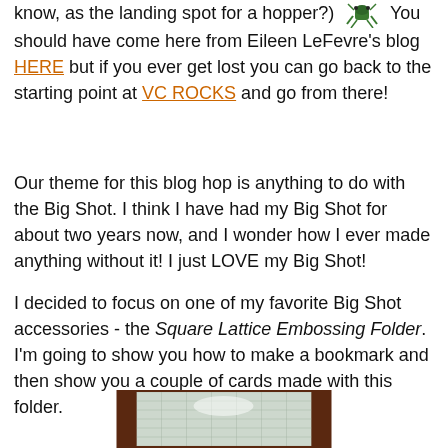know, as the landing spot for a hopper?) [hopper image] You should have come here from Eileen LeFevre's blog HERE but if you ever get lost you can go back to the starting point at VC ROCKS and go from there!
Our theme for this blog hop is anything to do with the Big Shot. I think I have had my Big Shot for about two years now, and I wonder how I ever made anything without it! I just LOVE my Big Shot!
I decided to focus on one of my favorite Big Shot accessories - the Square Lattice Embossing Folder. I'm going to show you how to make a bookmark and then show you a couple of cards made with this folder.
[Figure (photo): Photo of a Square Lattice Embossing Folder — a clear plastic folder with a square lattice/grid embossed texture, shown against a dark brown background.]